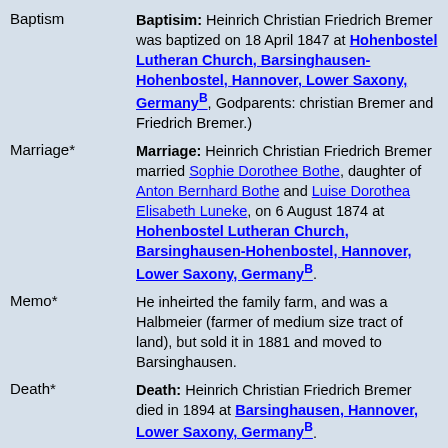| Event | Details |
| --- | --- |
| Baptism | Baptisim: Heinrich Christian Friedrich Bremer was baptized on 18 April 1847 at Hohenbostel Lutheran Church, Barsinghausen-Hohenbostel, Hannover, Lower Saxony, GermanyB, Godparents: christian Bremer and Friedrich Bremer.) |
| Marriage* | Marriage: Heinrich Christian Friedrich Bremer married Sophie Dorothee Bothe, daughter of Anton Bernhard Bothe and Luise Dorothea Elisabeth Luneke, on 6 August 1874 at Hohenbostel Lutheran Church, Barsinghausen-Hohenbostel, Hannover, Lower Saxony, GermanyB. |
| Memo* | He inheirted the family farm, and was a Halbmeier (farmer of medium size tract of land), but sold it in 1881 and moved to Barsinghausen. |
| Death* | Death: Heinrich Christian Friedrich Bremer died in 1894 at Barsinghausen, Hannover, Lower Saxony, GermanyB. |
| Family | Sophie Dorothee Bothe b. 26 Jan 1847 |
| Child | Sophie Julie Karoline Bremer b. 20 |